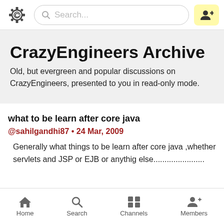[Figure (logo): CrazyEngineers gear/cog logo icon]
Search...
[Figure (illustration): User add icon button with yellow background]
CrazyEngineers Archive
Old, but evergreen and popular discussions on CrazyEngineers, presented to you in read-only mode.
what to be learn after core java
@sahilgandhi87 • 24 Mar, 2009
Generally what things to be learn after core java ,whether servlets and JSP or EJB or anythig else.......................
Home  Search  Channels  Members